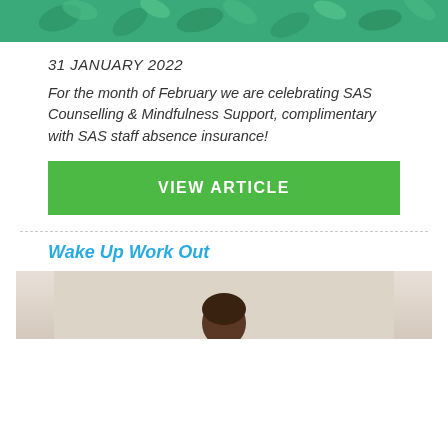[Figure (illustration): Teal/green decorative header image with leaf patterns]
31 JANUARY 2022
For the month of February we are celebrating SAS Counselling & Mindfulness Support, complimentary with SAS staff absence insurance!
VIEW ARTICLE
Wake Up Work Out
[Figure (photo): Photo of a person, cropped, with neutral background]